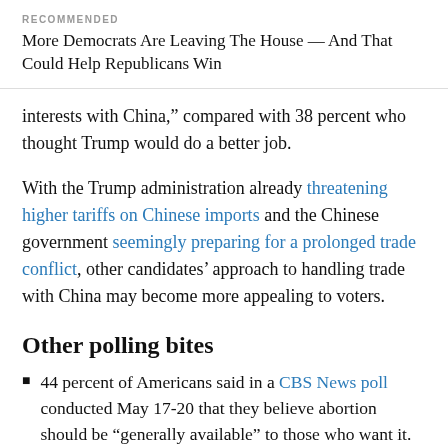RECOMMENDED
More Democrats Are Leaving The House — And That Could Help Republicans Win
interests with China," compared with 38 percent who thought Trump would do a better job.
With the Trump administration already threatening higher tariffs on Chinese imports and the Chinese government seemingly preparing for a prolonged trade conflict, other candidates' approach to handling trade with China may become more appealing to voters.
Other polling bites
44 percent of Americans said in a CBS News poll conducted May 17-20 that they believe abortion should be "generally available" to those who want it. Thirty-four percent said the procedure